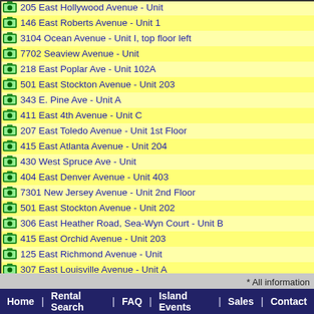205 East Hollywood Avenue - Unit
146 East Roberts Avenue - Unit 1
3104 Ocean Avenue - Unit I, top floor left
7702 Seaview Avenue - Unit
218 East Poplar Ave - Unit 102A
501 East Stockton Avenue - Unit 203
343 E. Pine Ave - Unit A
411 East 4th Avenue - Unit C
207 East Toledo Avenue - Unit 1st Floor
415 East Atlanta Avenue - Unit 204
430 West Spruce Ave - Unit
404 East Denver Avenue - Unit 403
7301 New Jersey Avenue - Unit 2nd Floor
501 East Stockton Avenue - Unit 202
306 East Heather Road, Sea-Wyn Court - Unit B
415 East Orchid Avenue - Unit 203
125 East Richmond Avenue - Unit
307 East Louisville Avenue - Unit A
304 Surf Avenue - Unit 5
406 West Bennett Avenue - Unit C
* All information
Home | Rental Search | FAQ | Island Events | Sales | Contact